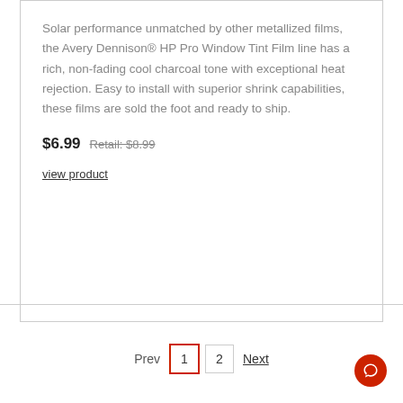Solar performance unmatched by other metallized films, the Avery Dennison® HP Pro Window Tint Film line has a rich, non-fading cool charcoal tone with exceptional heat rejection. Easy to install with superior shrink capabilities, these films are sold the foot and ready to ship.
$6.99 Retail: $8.99
view product
Prev  1  2  Next